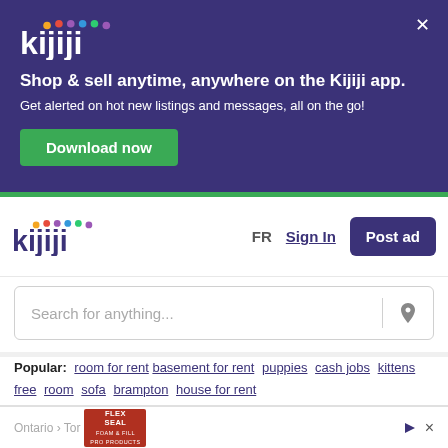[Figure (screenshot): Kijiji app promotional banner with dark purple background, Kijiji logo with colored dots, headline, subtext, and green Download now button, with X close button in top right]
Shop & sell anytime, anywhere on the Kijiji app.
Get alerted on hot new listings and messages, all on the go!
Download now
[Figure (logo): Kijiji logo with colored dots above letters in navigation bar]
FR
Sign In
Post ad
Search for anything...
Popular: room for rent  basement for rent  puppies  cash jobs  kittens  free  room  sofa  brampton  house for rent
[Figure (photo): Flex Seal red advertisement image]
Ontario › Tor...